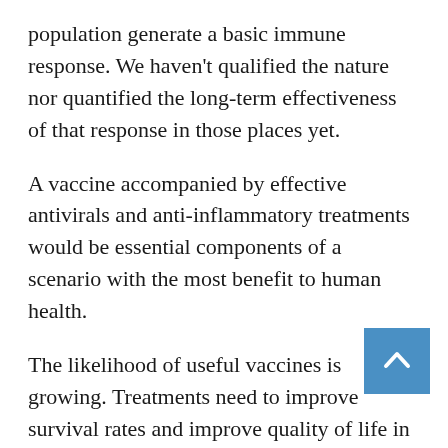population generate a basic immune response. We haven't qualified the nature nor quantified the long-term effectiveness of that response in those places yet.
A vaccine accompanied by effective antivirals and anti-inflammatory treatments would be essential components of a scenario with the most benefit to human health.
The likelihood of useful vaccines is growing. Treatments need to improve survival rates and improve quality of life in the years that follow the initial infection.
There is a real need to try and head off long-term consequences from severe, but perhaps also moderate and mild cases of COVID-19.